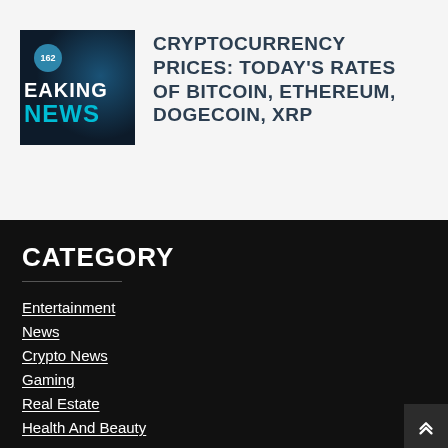[Figure (logo): Breaking News logo image with dark navy background, globe graphic, and cyan 'NEWS' text]
CRYPTOCURRENCY PRICES: TODAY'S RATES OF BITCOIN, ETHEREUM, DOGECOIN, XRP
CATEGORY
Entertainment
News
Crypto News
Gaming
Real Estate
Health And Beauty